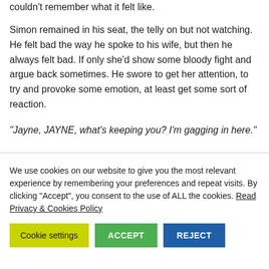couldn't remember what it felt like.
Simon remained in his seat, the telly on but not watching. He felt bad the way he spoke to his wife, but then he always felt bad. If only she'd show some bloody fight and argue back sometimes. He swore to get her attention, to try and provoke some emotion, at least get some sort of reaction.
“Jayne, JAYNE, what’s keeping you? I’m gagging in here.”
We use cookies on our website to give you the most relevant experience by remembering your preferences and repeat visits. By clicking “Accept”, you consent to the use of ALL the cookies. Read Privacy & Cookies Policy
Cookie settings | ACCEPT | REJECT